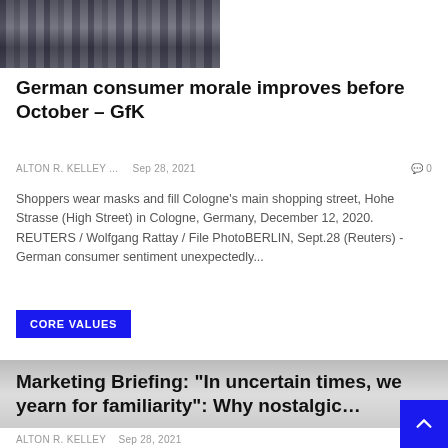[Figure (photo): People shopping on Cologne's main shopping street wearing masks, cropped crowd scene]
German consumer morale improves before October – GfK
ALTON R. KELLEY ...   Sep 28, 2021   0
Shoppers wear masks and fill Cologne's main shopping street, Hohe Strasse (High Street) in Cologne, Germany, December 12, 2020. REUTERS / Wolfgang Rattay / File PhotoBERLIN, Sept.28 (Reuters) - German consumer sentiment unexpectedly...
CORE VALUES
[Figure (photo): Second article image placeholder]
Marketing Briefing: “In uncertain times, we yearn for familiarity”: Why nostalgic…
ALTON R. KELLEY   Sep 28, 2021